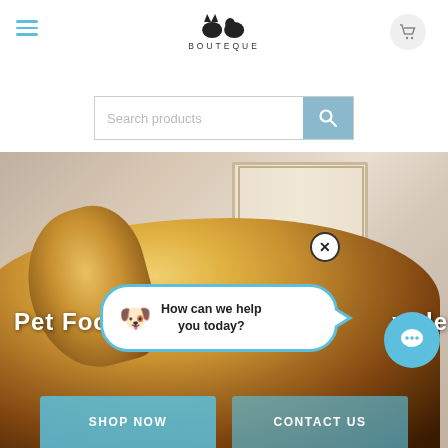[Figure (screenshot): Pet boutique website header with logo showing cat/dog silhouette and text BOUTEQUE, search bar with placeholder 'Search products' and blue search button, hero section with photo of golden dog from behind, chat bubble overlay saying 'How can we help you today?' with dog emoji, close X button, blue chat circle button, and bottom CTA buttons SHOP NOW and CONTACT US.]
BOUTEQUE
Search products
Pet Food
vrtle
How can we help you today?
SHOP NOW
CONTACT US